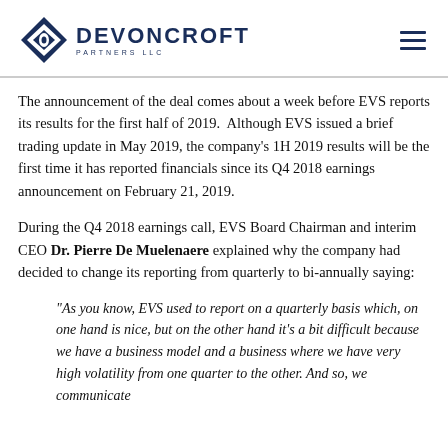Devoncroft Partners LLC
The announcement of the deal comes about a week before EVS reports its results for the first half of 2019.  Although EVS issued a brief trading update in May 2019, the company's 1H 2019 results will be the first time it has reported financials since its Q4 2018 earnings announcement on February 21, 2019.
During the Q4 2018 earnings call, EVS Board Chairman and interim CEO Dr. Pierre De Muelenaere explained why the company had decided to change its reporting from quarterly to bi-annually saying:
“As you know, EVS used to report on a quarterly basis which, on one hand is nice, but on the other hand it’s a bit difficult because we have a business model and a business where we have very high volatility from one quarter to the other. And so, we communicate